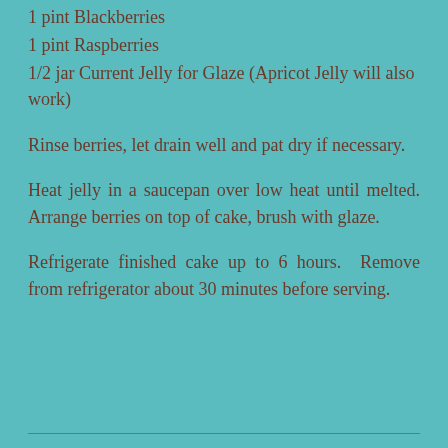1 pint Blackberries
1 pint Raspberries
1/2 jar Current Jelly for Glaze (Apricot Jelly will also work)
Rinse berries, let drain well and pat dry if necessary.
Heat jelly in a saucepan over low heat until melted. Arrange berries on top of cake, brush with glaze.
Refrigerate finished cake up to 6 hours.  Remove from refrigerator about 30 minutes before serving.